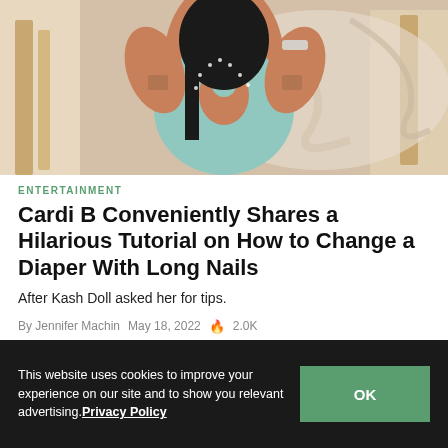[Figure (photo): Woman in teal/mint cutout dress with tattoos, hands raised, black hair, at an event with decorative background]
ENTERTAINMENT
Cardi B Conveniently Shares a Hilarious Tutorial on How to Change a Diaper With Long Nails
After Kash Doll asked her for tips.
By Jennifer Machin   May 18, 2022   🔥 2.0K
[Figure (photo): Person with braided hair at a wooden panel background]
This website uses cookies to improve your experience on our site and to show you relevant advertising. Privacy Policy